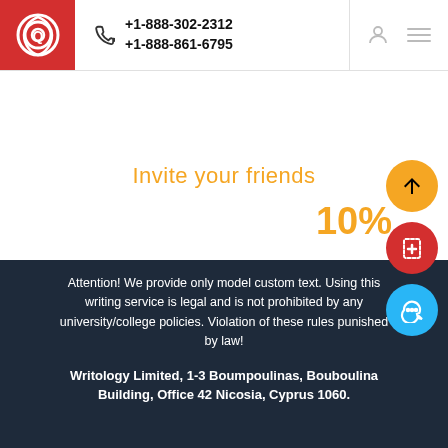+1-888-302-2312 / +1-888-861-6795
Invite your friends
10%
Attention! We provide only model custom text. Using this writing service is legal and is not prohibited by any university/college policies. Violation of these rules punished by law!
Writology Limited, 1-3 Boumpoulinas, Bouboulina Building, Office 42 Nicosia, Cyprus 1060.